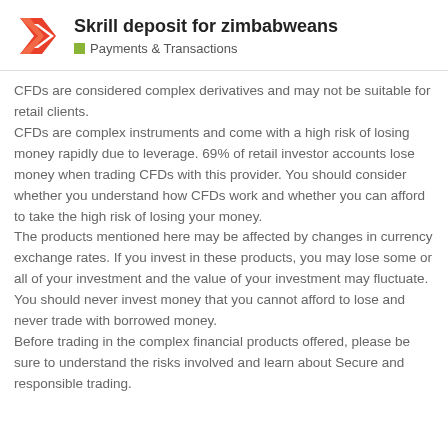Skrill deposit for zimbabweans
Payments & Transactions
CFDs are considered complex derivatives and may not be suitable for retail clients.
CFDs are complex instruments and come with a high risk of losing money rapidly due to leverage. 69% of retail investor accounts lose money when trading CFDs with this provider. You should consider whether you understand how CFDs work and whether you can afford to take the high risk of losing your money.
The products mentioned here may be affected by changes in currency exchange rates. If you invest in these products, you may lose some or all of your investment and the value of your investment may fluctuate. You should never invest money that you cannot afford to lose and never trade with borrowed money.
Before trading in the complex financial products offered, please be sure to understand the risks involved and learn about Secure and responsible trading.